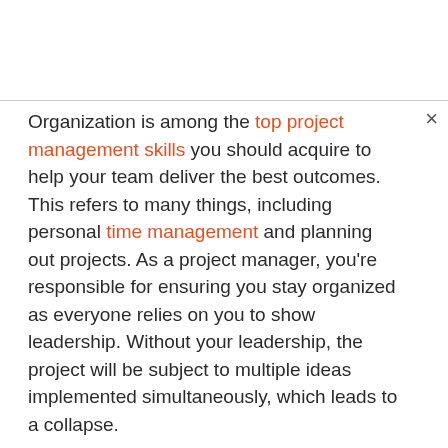Organization is among the top project management skills you should acquire to help your team deliver the best outcomes. This refers to many things, including personal time management and planning out projects. As a project manager, you're responsible for ensuring you stay organized as everyone relies on you to show leadership. Without your leadership, the project will be subject to multiple ideas implemented simultaneously, which leads to a collapse.
How to Develop Organizational Skills